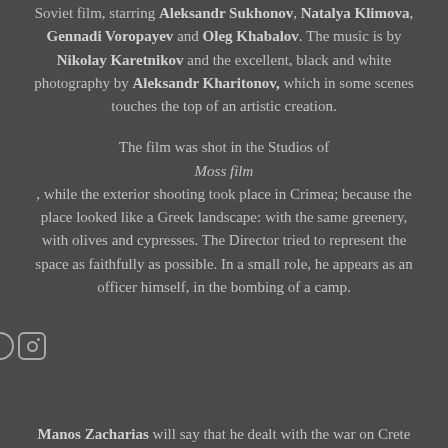Soviet film, starring Aleksandr Sukhonov, Natalya Klimova, Gennadi Voropayev and Oleg Khabalov. The music is by Nikolay Karetnikov and the excellent, black and white photography by Aleksandr Kharitonov, which in some scenes touches the top of an artistic creation.
The film was shot in the Studios of Moss film, while the exterior shooting took place in Crimea; because the place looked like a Greek landscape: with the same greenery, with olives and cypresses. The Director tried to represent the space as faithfully as possible. In a small role, he appears as an officer himself, in the bombing of a camp.
Manos Zacharias will say that he dealt with the war on Crete